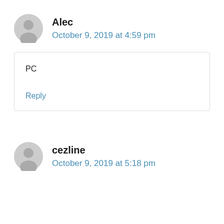Alec
October 9, 2019 at 4:59 pm
PC
Reply
cezline
October 9, 2019 at 5:18 pm